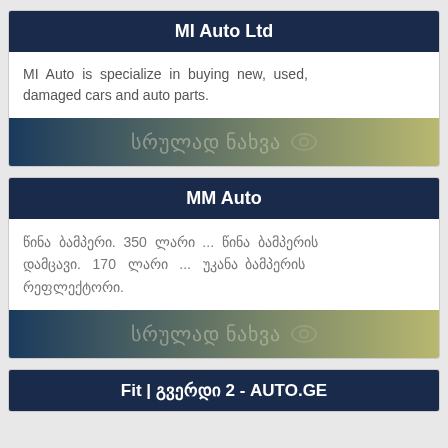MI Auto Ltd
MI Auto is specialize in buying new, used, damaged cars and auto parts.
[Figure (other): Georgian text watermark 'სრულად ნახვა' with eye icon on gradient blue-yellow background]
MM Auto
წინა ბამპერი. 350 ლარი ... წინა ბამპერის დამცავი. 170 ლარი ... უკანა ბამპერის რეფლექტორი.
[Figure (other): Georgian text watermark 'სრულად ნახვა' with eye icon on gradient blue-yellow background]
Fit | გვერდი 2 - AUTO.GE